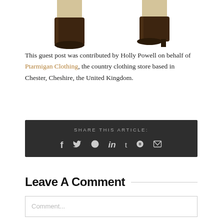[Figure (photo): Two boot/leg product images cropped at the top of the page]
This guest post was contributed by Holly Powell on behalf of Ptarmigan Clothing, the country clothing store based in Chester, Cheshire, the United Kingdom.
SHARE THIS ARTICLE: [icons for Facebook, Twitter, Reddit, LinkedIn, Tumblr, Pinterest, Email]
Leave A Comment
Comment...